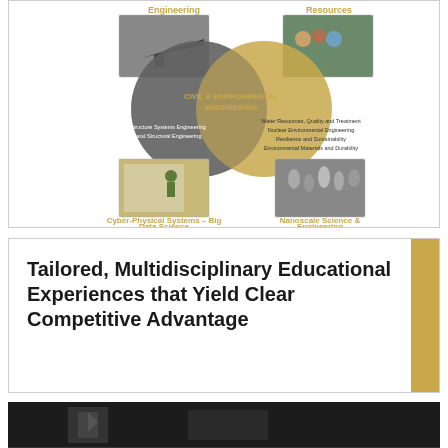[Figure (infographic): Venn diagram showing Civil & Environmental Engineering at center intersection of two overlapping circles. Top-left circle associated with aerospace/systems engineering photo. Top-right with water resources/natural resources photo. Bottom-left with Cyber-Physical Systems – Big Data Science and person surveying photo. Bottom-right with Nanoscale Science & Engineering and microscale materials photo. Left circle lists: Civil Infrastructure Systems Engineering, Materials and Structural Engineering. Right circle lists: Water Resources, Quality and Treatment; Nuclear Environmental Engineering; Resilience and Sustainability; Environmental Materials and Durability.]
Tailored, Multidisciplinary Educational Experiences that Yield Clear Competitive Advantage
[Figure (photo): Dark bottom photo strip showing partial interior scene]